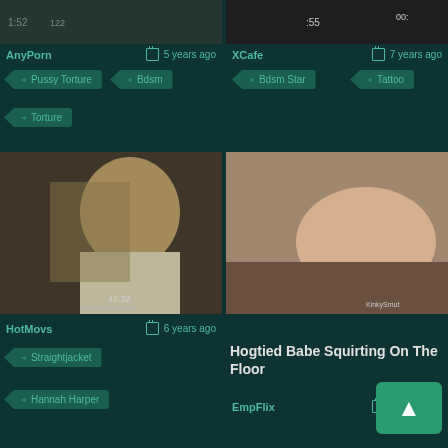[Figure (screenshot): Top left video thumbnail with timestamp 1:52 and other overlay text]
[Figure (screenshot): Top right video thumbnail with timestamp :55 and overlay]
AnyPorn   5 years ago
XCafe   7 years ago
Pussy Torture
Bdsm
Bdsm Star
Tattoo
Torture
[Figure (screenshot): Bottom left video thumbnail showing blonde woman, watermark HelloofBdsm.com, timestamp 45:32]
[Figure (screenshot): Bottom right video thumbnail showing person restrained, watermark KinkySmut]
HotMovs   6 years ago
Hogtied Babe Squirting On The Floor
EmpFlix   4 years ago
Straightjacket
Hannah Harper